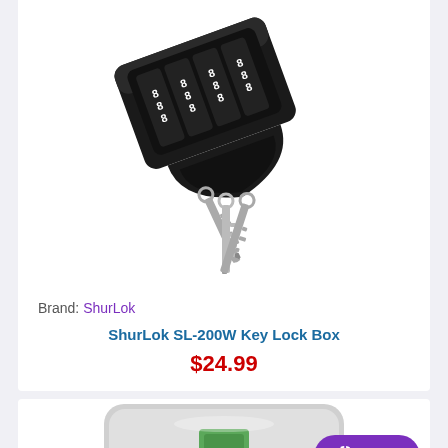[Figure (photo): A black ShurLok combination lock box shown open with two silver keys inserted/hanging from the bottom opening, angled view on white background.]
Brand: ShurLok
ShurLok SL-200W Key Lock Box
$24.99
[Figure (photo): Partial view of a second product — a light grey/silver device with a green button/indicator, partially visible at bottom of page.]